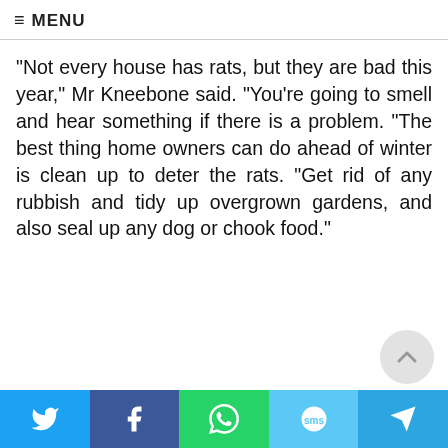≡ MENU
"Not every house has rats, but they are bad this year," Mr Kneebone said. "You're going to smell and hear something if there is a problem. "The best thing home owners can do ahead of winter is clean up to deter the rats. "Get rid of any rubbish and tidy up overgrown gardens, and also seal up any dog or chook food."